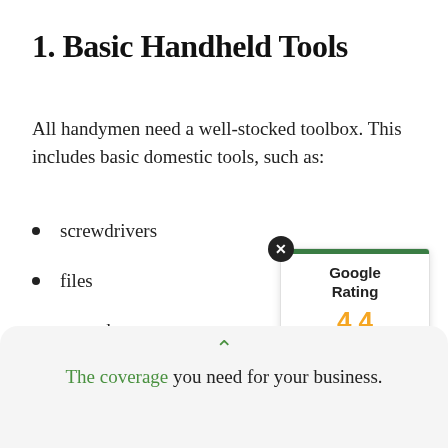1. Basic Handheld Tools
All handymen need a well-stocked toolbox. This includes basic domestic tools, such as:
screwdrivers
files
wrenches
paint scrapers
hammer
pliers
wire nuts
[Figure (infographic): Google Rating widget showing 4.4 stars out of 5, with a green top bar, close button (X), and five orange stars (four full and one half star).]
The coverage you need for your business.